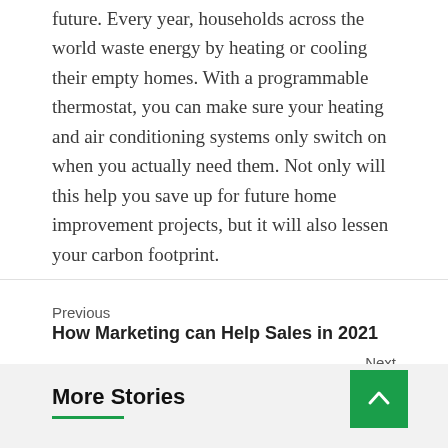future. Every year, households across the world waste energy by heating or cooling their empty homes. With a programmable thermostat, you can make sure your heating and air conditioning systems only switch on when you actually need them. Not only will this help you save up for future home improvement projects, but it will also lessen your carbon footprint.
Previous
How Marketing can Help Sales in 2021
Next
Are Your Small Business Finances an Issue?
More Stories